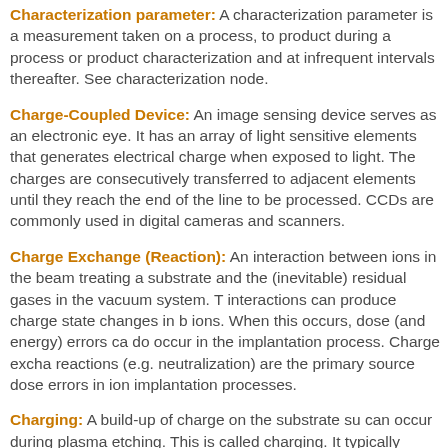Characterization parameter: A characterization parameter is a measurement taken on a process, to product during a process or product characterization and at infrequent intervals thereafter. See characterization node.
Charge-Coupled Device: An image sensing device serves as an electronic eye. It has an array of light sensitive elements that generates electrical charge when exposed to light. The charges are consecutively transferred to adjacent elements until they reach the end of the line to be processed. CCDs are commonly used in digital cameras and scanners.
Charge Exchange (Reaction): An interaction between ions in the beam treating a substrate and the (inevitable) residual gases in the vacuum system. These interactions can produce charge state changes in beam ions. When this occurs, dose (and energy) errors can do occur in the implantation process. Charge exchange reactions (e.g. neutralization) are the primary source of dose errors in ion implantation processes.
Charging: A build-up of charge on the substrate surface can occur during plasma etching. This is called charging. It typically occurs on floating structures, is exacerbated by non-uniformity in the etching plasma. Charging can damage the substrate, particularly...